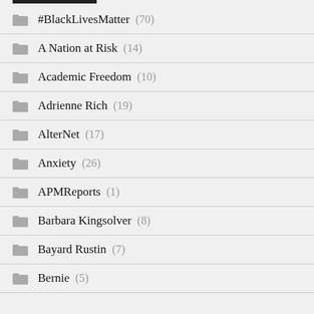#BlackLivesMatter (70)
A Nation at Risk (14)
Academic Freedom (10)
Adrienne Rich (19)
AlterNet (17)
Anxiety (26)
APMReports (1)
Barbara Kingsolver (8)
Bayard Rustin (7)
Bernie (5)